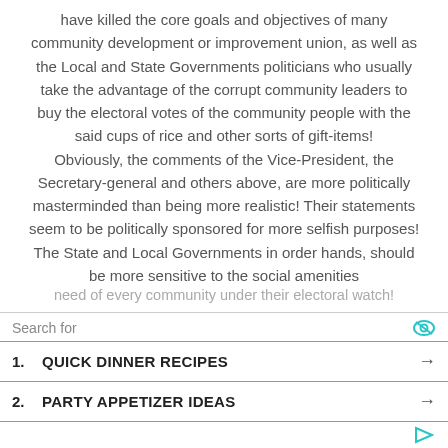have killed the core goals and objectives of many community development or improvement union, as well as the Local and State Governments politicians who usually take the advantage of the corrupt community leaders to buy the electoral votes of the community people with the said cups of rice and other sorts of gift-items! Obviously, the comments of the Vice-President, the Secretary-general and others above, are more politically masterminded than being more realistic! Their statements seem to be politically sponsored for more selfish purposes! The State and Local Governments in order hands, should be more sensitive to the social amenities need of every community under their electoral watch!
Search for
1. QUICK DINNER RECIPES →
2. PARTY APPETIZER IDEAS →